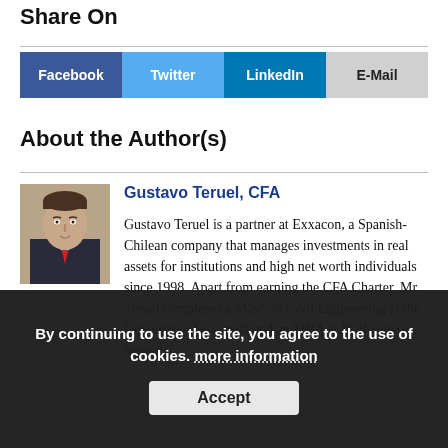Share On
| Facebook | Twitter | LinkedIn | E-Mail |
| --- | --- | --- | --- |
About the Author(s)
[Figure (photo): Headshot photo of Gustavo Teruel, a man in a dark suit with a red tie]
Gustavo Teruel, CFA
Gustavo Teruel is a partner at Exxacon, a Spanish-Chilean company that manages investments in real assets for institutions and high net worth individuals since 1998. Apart from earning the CFA Charter, Mr. Teruel completed a M.Sc. in Civil Engineering at the University of Granada and an MBA at IE Business School.
By continuing to use the site, you agree to the use of cookies. more information
Accept